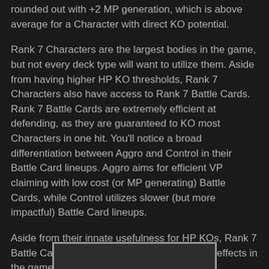rounded out with +2 MP generation, which is above average for a Character with direct KO potential.
Rank 7 Characters are the largest bodies in the game, but not every deck type will want to utilize them. Aside from having higher HP KO thresholds, Rank 7 Characters also have access to Rank 7 Battle Cards. Rank 7 Battle Cards are extremely efficient at defending, as they are guaranteed to KO most Characters in one hit. You'll notice a broad differentiation between Aggro and Control in their Battle Card lineups. Aggro aims for efficient VP claiming with low cost (or MP generating) Battle Cards, while Control utilizes slower (but more impactful) Battle Card lineups.
Aside from their innate usefulness for HP KOs, Rank 7 Battle Cards also pack some of the strongest effects in the game:
[Figure (other): Partial image visible at the bottom of the page, showing a card or content block with a white/light top border against dark background.]